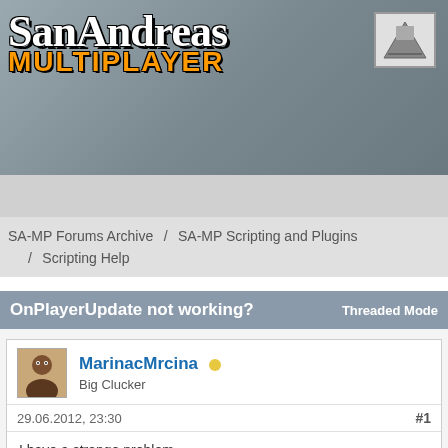[Figure (logo): San Andreas Multiplayer logo with gothic lettering and orange MULTIPLAYER text]
SA-MP Forums Archive / SA-MP Scripting and Plugins / Scripting Help
OnPlayerUpdate not working?
Threaded Mode
MarinacMrcina
Big Clucker
29.06.2012, 23:30
#1
I have a strange problem.